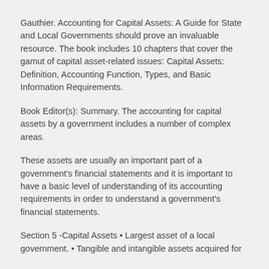Gauthier. Accounting for Capital Assets: A Guide for State and Local Governments should prove an invaluable resource. The book includes 10 chapters that cover the gamut of capital asset-related issues: Capital Assets: Definition, Accounting Function, Types, and Basic Information Requirements.
Book Editor(s): Summary. The accounting for capital assets by a government includes a number of complex areas.
These assets are usually an important part of a government's financial statements and it is important to have a basic level of understanding of its accounting requirements in order to understand a government's financial statements.
Section 5 -Capital Assets • Largest asset of a local government. • Tangible and intangible assets acquired for